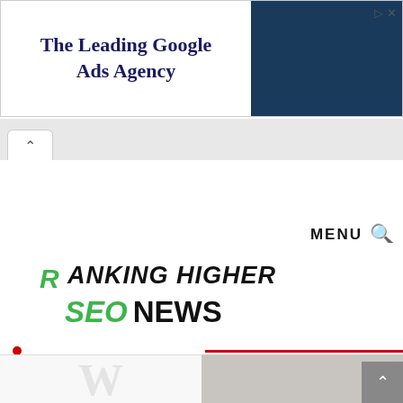[Figure (screenshot): Advertisement banner: 'The Leading Google Ads Agency' with dark blue image panel on the right and ad icons top right]
[Figure (screenshot): Browser tab bar with a back/up arrow tab indicator]
MENU 🔍
[Figure (logo): Ranking Higher SEO News logo - green R icon followed by ANKING HIGHER in black, second line SEO in green italic and NEWS in black bold]
[Figure (screenshot): Bottom portion showing a partial advertisement with a W watermark on left and a person image on right, plus a scroll-to-top button]